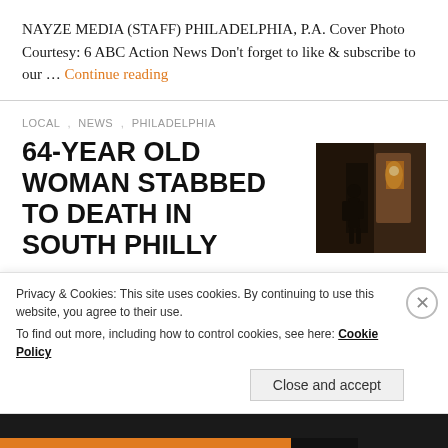NAYZE MEDIA (STAFF) PHILADELPHIA, P.A. Cover Photo Courtesy: 6 ABC Action News Don't forget to like & subscribe to our … Continue reading
LOCAL , NEWS , PHILADELPHIA
64-YEAR OLD WOMAN STABBED TO DEATH IN SOUTH PHILLY
[Figure (photo): Dark thumbnail photo showing a silhouette of a person near a doorway with warm lighting]
NAYZE MEDIA (STAFF) PHILADELPHIA, P.A. (SOUTH PHILLY) Cover Photo Courtesy: CBS-3 Philly Don't forget to like & subscribe to our … Continue reading
Privacy & Cookies: This site uses cookies. By continuing to use this website, you agree to their use. To find out more, including how to control cookies, see here: Cookie Policy
Close and accept